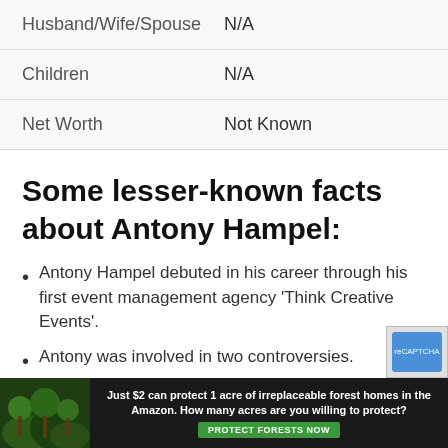| Field | Value |
| --- | --- |
| Husband/Wife/Spouse | N/A |
| Children | N/A |
| Net Worth | Not Known |
Some lesser-known facts about Antony Hampel:
Antony Hampel debuted in his career through his first event management agency 'Think Creative Events'.
Antony was involved in two controversies.
He has volunteered for many non-profitable
[Figure (infographic): Advertisement banner: dark background with forest image on left and text 'Just $2 can protect 1 acre of irreplaceable forest homes in the Amazon. How many acres are you willing to protect?' with green 'PROTECT FORESTS NOW' button.]